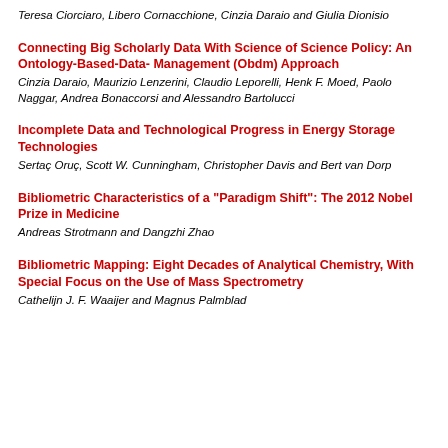Teresa Ciorciaro, Libero Cornacchione, Cinzia Daraio and Giulia Dionisio
Connecting Big Scholarly Data With Science of Science Policy: An Ontology-Based-Data- Management (Obdm) Approach
Cinzia Daraio, Maurizio Lenzerini, Claudio Leporelli, Henk F. Moed, Paolo Naggar, Andrea Bonaccorsi and Alessandro Bartolucci
Incomplete Data and Technological Progress in Energy Storage Technologies
Sertaç Oruç, Scott W. Cunningham, Christopher Davis and Bert van Dorp
Bibliometric Characteristics of a "Paradigm Shift": The 2012 Nobel Prize in Medicine
Andreas Strotmann and Dangzhi Zhao
Bibliometric Mapping: Eight Decades of Analytical Chemistry, With Special Focus on the Use of Mass Spectrometry
Cathelijn J. F. Waaijer and Magnus Palmblad